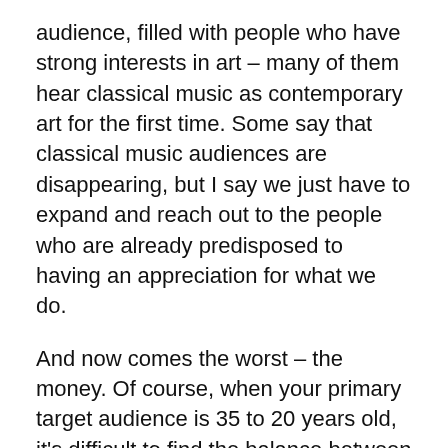audience, filled with people who have strong interests in art – many of them hear classical music as contemporary art for the first time. Some say that classical music audiences are disappearing, but I say we just have to expand and reach out to the people who are already predisposed to having an appreciation for what we do.
And now comes the worst – the money. Of course, when your primary target audience is 35 to 20 years old, it's difficult to find the balance between affordability for the audience and the collective. The reality is that ticket sales only cover a fraction of production costs, for both our operas and our interdisciplinary concerts, so money is always a topic of discussion. Fortunately, we have a new member on our team, Ryan Coulter, who is our new Development Coordinator and will be working with FAWN to help us keep our shows affordable to young people